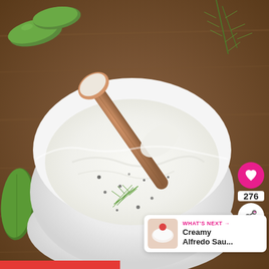[Figure (photo): Overhead photo of a white ceramic bowl filled with creamy white tzatziki or ranch-style dip, garnished with fresh dill fronds and cracked black pepper, with a wooden spoon resting in the bowl. Background shows a wooden table surface with cucumbers and fresh dill sprigs.]
[Figure (infographic): UI overlay elements: pink heart/like button showing 276 saves, a white share button, and a 'WHAT'S NEXT' card showing a thumbnail and text 'Creamy Alfredo Sau...']